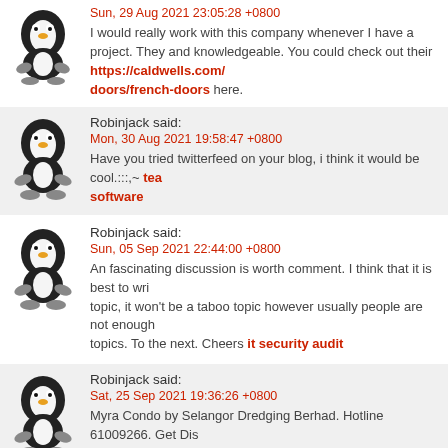Sun, 29 Aug 2021 23:05:28 +0800
I would really work with this company whenever I have a project. They and knowledgeable. You could check out their https://caldwells.com/... doors/french-doors here.
Robinjack said:
Mon, 30 Aug 2021 19:58:47 +0800
Have you tried twitterfeed on your blog, i think it would be cool.:::,~ tea software
Robinjack said:
Sun, 05 Sep 2021 22:44:00 +0800
An fascinating discussion is worth comment. I think that it is best to wri topic, it won't be a taboo topic however usually people are not enough topics. To the next. Cheers it security audit
Robinjack said:
Sat, 25 Sep 2021 19:36:26 +0800
Myra Condo by Selangor Dredging Berhad. Hotline 61009266. Get Dis Developer Price, Brochure, Floor Plan, Price List. Upcoming new launc